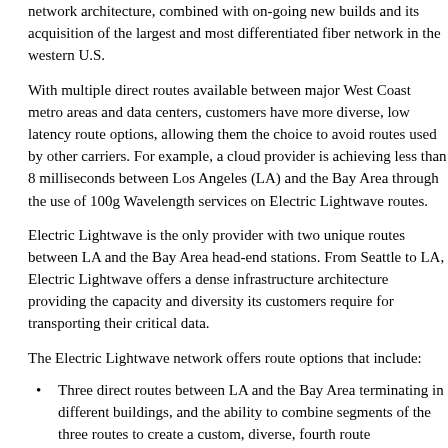network architecture, combined with on-going new builds and its acquisition of the largest and most differentiated fiber network in the western U.S.
With multiple direct routes available between major West Coast metro areas and data centers, customers have more diverse, low latency route options, allowing them the choice to avoid routes used by other carriers. For example, a cloud provider is achieving less than 8 milliseconds between Los Angeles (LA) and the Bay Area through the use of 100g Wavelength services on Electric Lightwave routes.
Electric Lightwave is the only provider with two unique routes between LA and the Bay Area head-end stations. From Seattle to LA, Electric Lightwave offers a dense infrastructure architecture providing the capacity and diversity its customers require for transporting their critical data.
The Electric Lightwave network offers route options that include:
Three direct routes between LA and the Bay Area terminating in different buildings, and the ability to combine segments of the three routes to create a custom, diverse, fourth route
A direct route from the Bay Area to Hillsboro, Oregon, bypassing Portland and accessing the Hillsboro, Oregon data center cluster and cable landing station
“We continue to build on the strengths of our network to offer our customers a hi